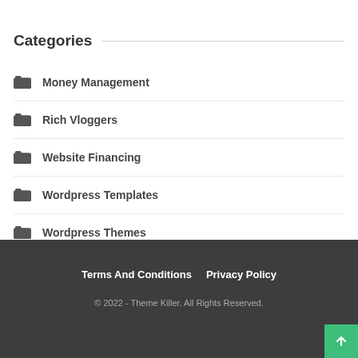Categories
Money Management
Rich Vloggers
Website Financing
Wordpress Templates
Wordpress Themes
Terms And Conditions   Privacy Policy
© 2022 - Theme Killer. All Rights Reserved.